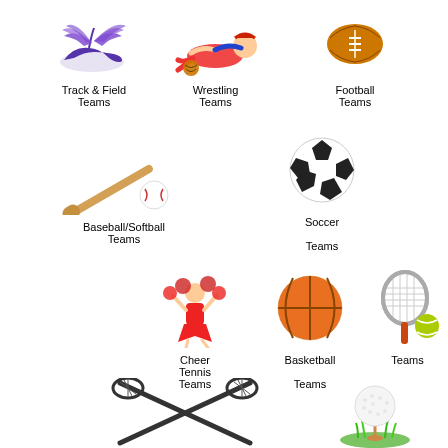[Figure (illustration): Sports icons grid: Track & Field (winged shoe), Wrestling (cartoon wrestler), Football (football), Baseball/Softball (bat and ball), Soccer (soccer ball), Cheer (cheerleader), Basketball (basketball), Tennis (racket and ball), Lacrosse (crossed lacrosse sticks), Golf (golf ball on tee)]
Track & Field Teams
Wrestling Teams
Football Teams
Baseball/Softball Teams
Soccer Teams
Cheer Tennis Teams
Basketball Teams
Teams
Lacrosse (crossed sticks)
Golf (ball on tee)